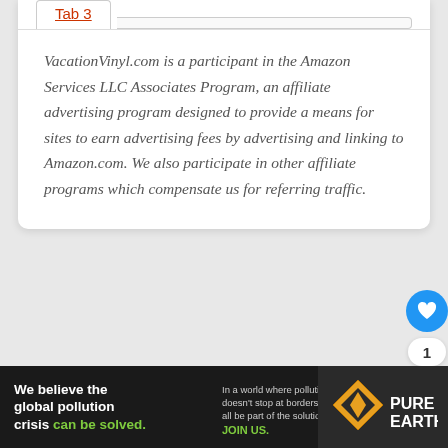Tab 3
VacationVinyl.com is a participant in the Amazon Services LLC Associates Program, an affiliate advertising program designed to provide a means for sites to earn advertising fees by advertising and linking to Amazon.com. We also participate in other affiliate programs which compensate us for referring traffic.
[Figure (screenshot): No compatible source was found for this media.]
[Figure (screenshot): Pure Earth advertisement banner: We believe the global pollution crisis can be solved.]